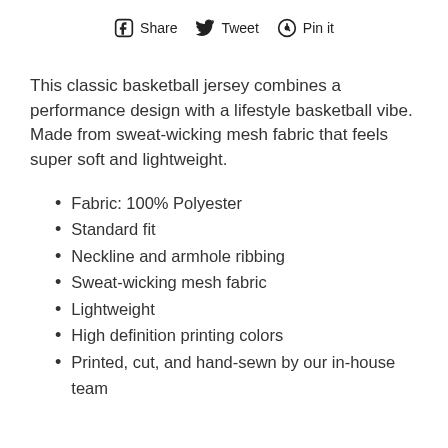Share  Tweet  Pin it
This classic basketball jersey combines a performance design with a lifestyle basketball vibe. Made from sweat-wicking mesh fabric that feels super soft and lightweight.
Fabric: 100% Polyester
Standard fit
Neckline and armhole ribbing
Sweat-wicking mesh fabric
Lightweight
High definition printing colors
Printed, cut, and hand-sewn by our in-house team